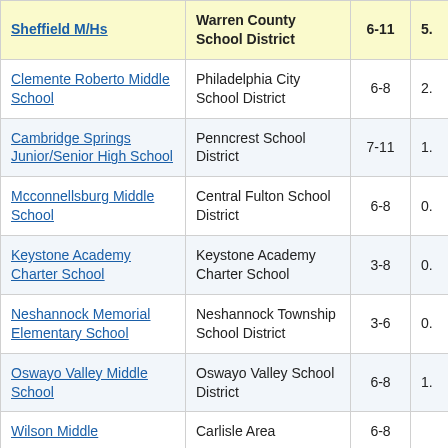| School | District | Grades | Score |
| --- | --- | --- | --- |
| Sheffield M/Hs | Warren County School District | 6-11 | 5. |
| Clemente Roberto Middle School | Philadelphia City School District | 6-8 | 2. |
| Cambridge Springs Junior/Senior High School | Penncrest School District | 7-11 | 1. |
| Mcconnellsburg Middle School | Central Fulton School District | 6-8 | 0. |
| Keystone Academy Charter School | Keystone Academy Charter School | 3-8 | 0. |
| Neshannock Memorial Elementary School | Neshannock Township School District | 3-6 | 0. |
| Oswayo Valley Middle School | Oswayo Valley School District | 6-8 | 1. |
| Wilson Middle | Carlisle Area | 6-8 |  |